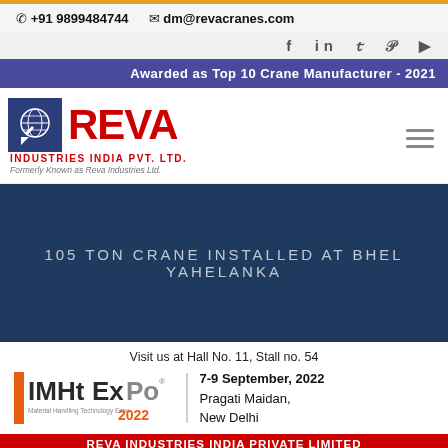+91 9899484744   dm@revacranes.com
f  in  y  p  ▶
Awarded as Top 10 Crane Manufacturer - 2021
[Figure (logo): REVA Industries India Pvt. Ltd. logo — blue square icon with globe and arrow symbol, REVA in large red text, INDUSTRIES INDIA PVT. LTD. in red below, Formerly Known as Reva Industries Ltd. in grey italic]
105 TON CRANE INSTALLED AT BHEL YAHELANKA
Visit us at Hall No. 11, Stall no. 54
[Figure (logo): IMHTEXPO 2022 logo — Material Handling Technology Expo with orange and grey styling]
7-9 September, 2022
Pragati Maidan,
New Delhi
REVA INDUSTRIES INDIA PRIVATE LIMITED